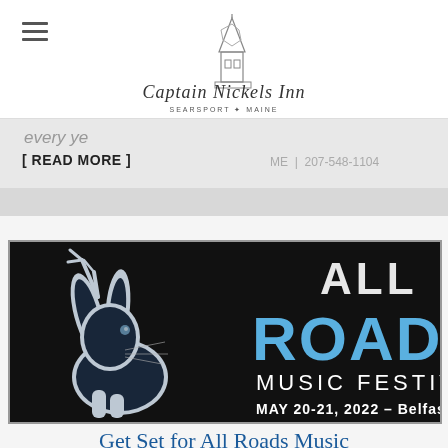[Figure (logo): Captain Nickels Inn logo with tower illustration and text 'Captain Nickels Inn, Searsport Maine']
every ye
[ READ MORE ]
ME  |  207-548-1104
[Figure (photo): All Roads Music Festival promotional image with a jackalope silhouette on black background. Text reads 'ALL ROADS MUSIC FESTIVAL MAY 20-21, 2022 - Belfast, ME']
Get Set for All Roads Music